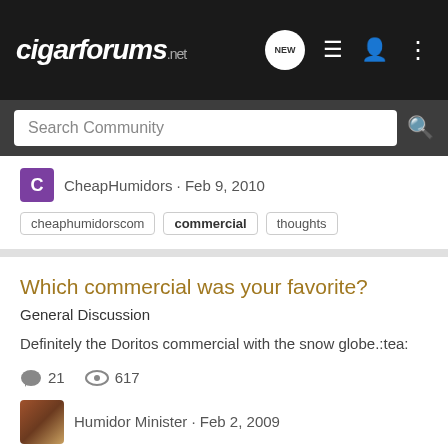cigarforums.net
Search Community
CheapHumidors · Feb 9, 2010
cheaphumidorscom  commercial  thoughts
Which commercial was your favorite?
General Discussion
Definitely the Doritos commercial with the snow globe.:tea:
21  617
Humidor Minister · Feb 2, 2009
commercial
California commercial vehicle smoking
Tobacco Legislation